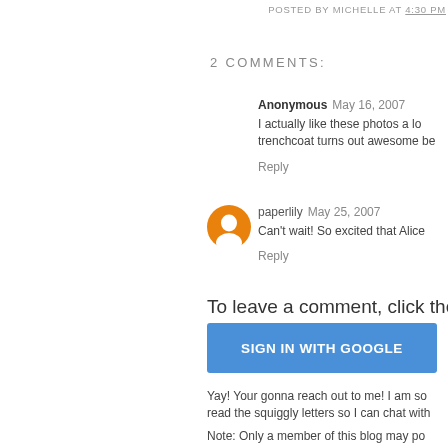POSTED BY MICHELLE AT 4:30 PM
2 COMMENTS:
Anonymous May 16, 2007
I actually like these photos a lo trenchcoat turns out awesome be
Reply
[Figure (illustration): Orange circular blogger avatar icon with white person silhouette]
paperlily May 25, 2007
Can't wait! So excited that Alice
Reply
To leave a comment, click the
SIGN IN WITH GOOGLE
Yay! Your gonna reach out to me! I am so read the squiggly letters so I can chat with
Note: Only a member of this blog may po